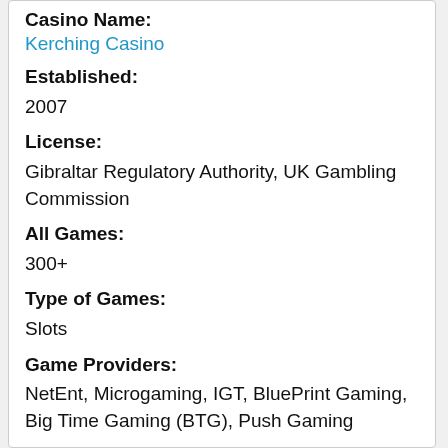Casino Name:
Kerching Casino
Established:
2007
License:
Gibraltar Regulatory Authority, UK Gambling Commission
All Games:
300+
Type of Games:
Slots
Game Providers:
NetEnt, Microgaming, IGT, BluePrint Gaming, Big Time Gaming (BTG), Push Gaming